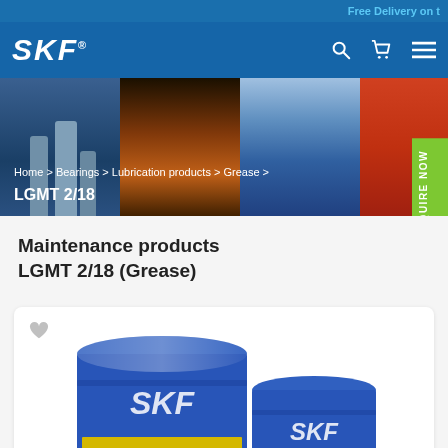Free Delivery on ...
[Figure (logo): SKF logo in white on blue navigation bar with search, cart and menu icons]
[Figure (photo): Hero banner with industrial images: factory silos, steel mill, city buildings with motorcycle rider, red truck. Breadcrumb: Home > Bearings > Lubrication products > Grease > LGMT 2/18]
Maintenance products LGMT 2/18 (Grease)
[Figure (photo): Two blue SKF grease drums/barrels - one large in front and one smaller behind, both labeled SKF with yellow and teal label stickers]